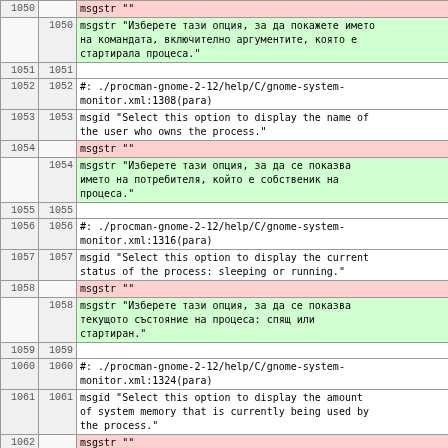| old | new | content |
| --- | --- | --- |
| 1050 |  | msgstr "" |
|  | 1050 | msgstr "Изберете тази опция, за да покажете името на командата, включително аргументите, която е стартирала процеса." |
| 1051 | 1051 |  |
| 1052 | 1052 | #: ./procman-gnome-2-12/help/C/gnome-system-monitor.xml:1308(para) |
| 1053 | 1053 | msgid "Select this option to display the name of the user who owns the process." |
| 1054 |  | msgstr "" |
|  | 1054 | msgstr "Изберете тази опция, за да се показва името на потребителя, който е собственик на процеса." |
| 1055 | 1055 |  |
| 1056 | 1056 | #: ./procman-gnome-2-12/help/C/gnome-system-monitor.xml:1316(para) |
| 1057 | 1057 | msgid "Select this option to display the current status of the process: sleeping or running." |
| 1058 |  | msgstr "" |
|  | 1058 | msgstr "Изберете тази опция, за да се показва текущото състояние на процеса: спящ или стартиран." |
| 1059 | 1059 |  |
| 1060 | 1060 | #: ./procman-gnome-2-12/help/C/gnome-system-monitor.xml:1324(para) |
| 1061 | 1061 | msgid "Select this option to display the amount of system memory that is currently being used by the process." |
| 1062 |  | msgstr "" |
|  | 1062 | msgstr "Изберете тази опция, за да се показва количеството системна памет, което е заето от процеса." |
| 1063 | 1063 |  |
| 1064 | 1064 | #: ./procman-gnome-2-12/help/C/gnome-system- |